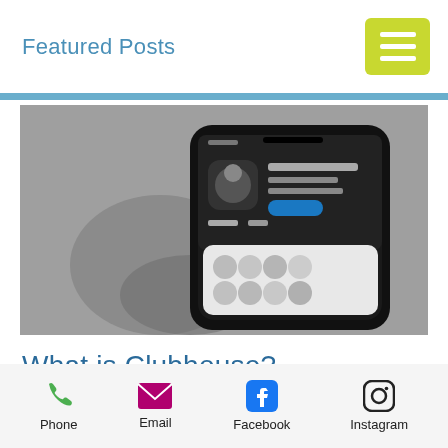Featured Posts
[Figure (photo): Black and white photo of a hand holding a smartphone showing the Clubhouse app store page with 'Clubhouse: Drop-in audio chat' visible on screen]
What is Clubhouse?
Phone  Email  Facebook  Instagram